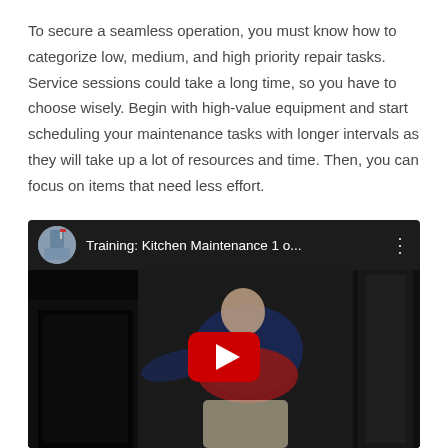To secure a seamless operation, you must know how to categorize low, medium, and high priority repair tasks. Service sessions could take a long time, so you have to choose wisely. Begin with high-value equipment and start scheduling your maintenance tasks with longer intervals as they will take up a lot of resources and time. Then, you can focus on items that need less effort.
[Figure (screenshot): YouTube video embed showing a person in a kitchen maintenance training video. Title bar reads 'Training: Kitchen Maintenance 1 o...' with a channel icon and three-dot menu. A large YouTube play button is centered on the video thumbnail.]